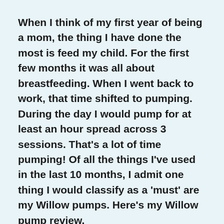When I think of my first year of being a mom, the thing I have done the most is feed my child. For the first few months it was all about breastfeeding. When I went back to work, that time shifted to pumping. During the day I would pump for at least an hour spread across 3 sessions. That's a lot of time pumping! Of all the things I've used in the last 10 months, I admit one thing I would classify as a 'must' are my Willow pumps. Here's my Willow pump review.
Need more intel on pumping and breastfeeding? Start with the roundup by Fooblie nutrition and lactation experts.